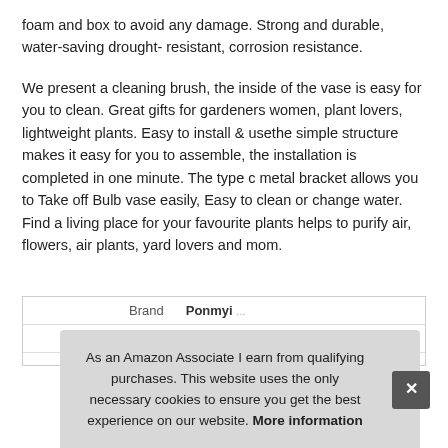foam and box to avoid any damage. Strong and durable, water-saving drought- resistant, corrosion resistance.
We present a cleaning brush, the inside of the vase is easy for you to clean. Great gifts for gardeners women, plant lovers, lightweight plants. Easy to install & usethe simple structure makes it easy for you to assemble, the installation is completed in one minute. The type c metal bracket allows you to Take off Bulb vase easily, Easy to clean or change water. Find a living place for your favourite plants helps to purify air, flowers, air plants, yard lovers and mom.
| Brand | Ponmyi ... |
| Ma |  |
As an Amazon Associate I earn from qualifying purchases. This website uses the only necessary cookies to ensure you get the best experience on our website. More information